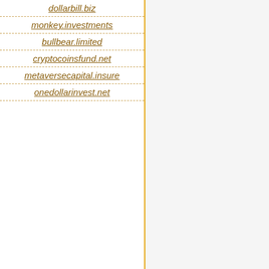dollarbill.biz
monkey.investments
bullbear.limited
cryptocoinsfund.net
metaversecapital.insure
onedollarinvest.net